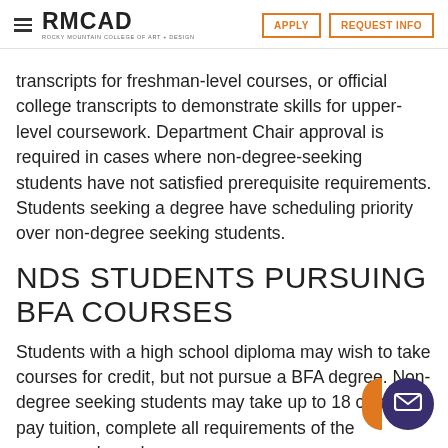RMCAD - Rocky Mountain College of Art + Design | APPLY | REQUEST INFO
transcripts for freshman-level courses, or official college transcripts to demonstrate skills for upper-level coursework. Department Chair approval is required in cases where non-degree-seeking students have not satisfied prerequisite requirements. Students seeking a degree have scheduling priority over non-degree seeking students.
NDS STUDENTS PURSUING BFA COURSES
Students with a high school diploma may wish to take courses for credit, but not pursue a BFA degree. Non-degree seeking students may take up to 18 credits, pay tuition, complete all requirements of the coursework, and earn a